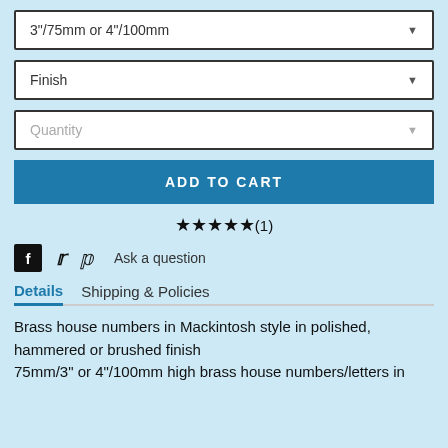3"/75mm or 4"/100mm
Finish
Quantity
ADD TO CART
★★★★★(1)
Ask a question
Details  Shipping & Policies
Brass house numbers in Mackintosh style in polished, hammered or brushed finish
75mm/3" or 4"/100mm high brass house numbers/letters in